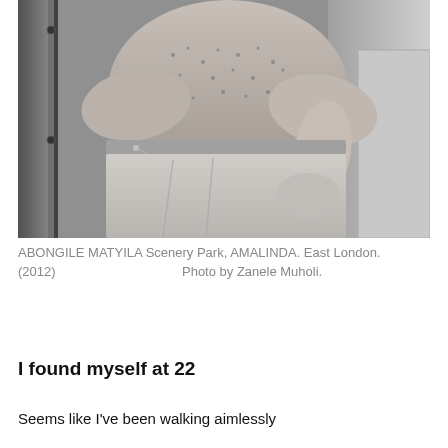[Figure (photo): Black and white photograph of a person wearing a textured sweater tucked into pleated trousers, with their hand in their pocket. A chain accessory is visible at the waist. The person is standing near a metal door or structure.]
ABONGILE MATYILA Scenery Park, AMALINDA. East London. (2012)   Photo by Zanele Muholi.
I found myself at 22
Seems like I've been walking aimlessly